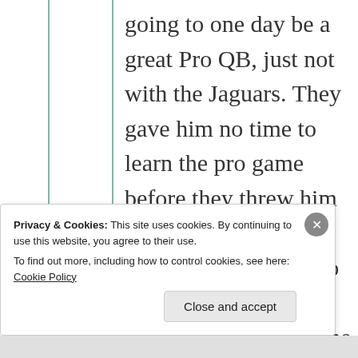going to one day be a great Pro QB, just not with the Jaguars. They gave him no time to learn the pro game before they threw him to the wolves. Last place teams tend to do this, just ask Justin Fields over there on the Bears. Brady got a couple
Privacy & Cookies: This site uses cookies. By continuing to use this website, you agree to their use.
To find out more, including how to control cookies, see here: Cookie Policy
Close and accept